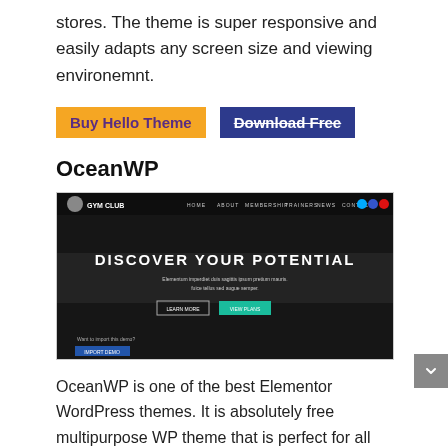stores. The theme is super responsive and easily adapts any screen size and viewing environemnt.
Buy Hello Theme   Download Free
OceanWP
[Figure (screenshot): Screenshot of OceanWP theme demo showing a gym website with the headline 'DISCOVER YOUR POTENTIAL' over a dark photo of hands gripping a barbell, with navigation menu and call-to-action buttons.]
OceanWP is one of the best Elementor WordPress themes. It is absolutely free multipurpose WP theme that is perfect for all types of websites. Even though it is free, the theme contains a